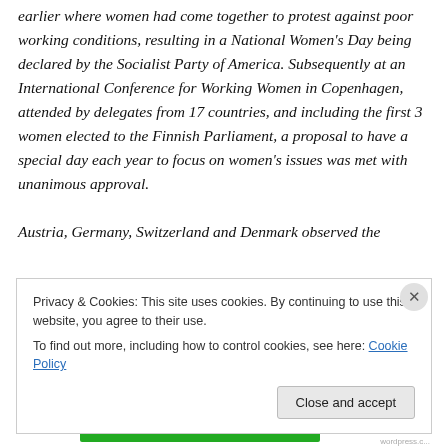earlier where women had come together to protest against poor working conditions, resulting in a National Women's Day being declared by the Socialist Party of America. Subsequently at an International Conference for Working Women in Copenhagen, attended by delegates from 17 countries, and including the first 3 women elected to the Finnish Parliament, a proposal to have a special day each year to focus on women's issues was met with unanimous approval.

Austria, Germany, Switzerland and Denmark observed the
Privacy & Cookies: This site uses cookies. By continuing to use this website, you agree to their use.
To find out more, including how to control cookies, see here: Cookie Policy